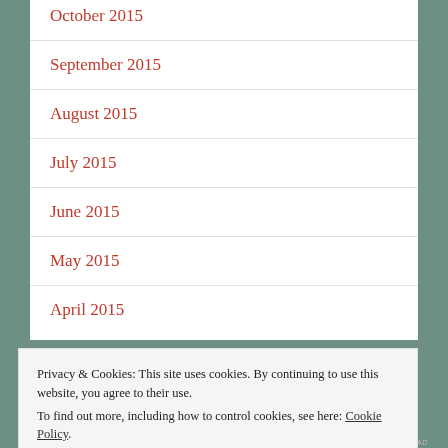October 2015
September 2015
August 2015
July 2015
June 2015
May 2015
April 2015
Privacy & Cookies: This site uses cookies. By continuing to use this website, you agree to their use.
To find out more, including how to control cookies, see here: Cookie Policy
Close and accept